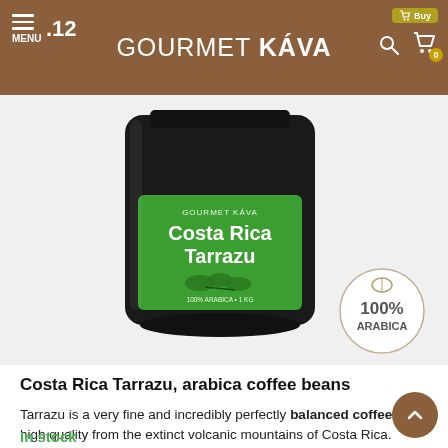GOURMET KÁVA
[Figure (photo): Black coffee bag with green label reading 'Costa Rica Tarrazu' with a coffee plant illustration, and a '100% ARABICA' circular badge in the bottom right]
Costa Rica Tarrazu, arabica coffee beans
Tarrazu is a very fine and incredibly perfectly balanced coffee of high quality from the extinct volcanic mountains of Costa Rica.
In stock